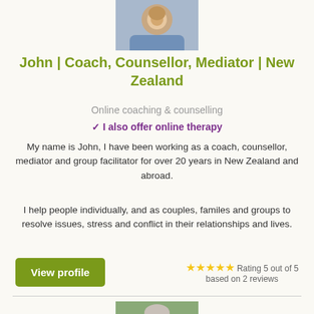[Figure (photo): Profile photo of John, a man in a blue shirt, cropped at shoulders, shown at top of listing]
John | Coach, Counsellor, Mediator | New Zealand
Online coaching & counselling
✓ I also offer online therapy
My name is John, I have been working as a coach, counsellor, mediator and group facilitator for over 20 years in New Zealand and abroad.
I help people individually, and as couples, familes and groups to resolve issues, stress and conflict in their relationships and lives.
View profile
★★★★★ Rating 5 out of 5 based on 2 reviews
[Figure (photo): Profile photo of a woman with grey hair, partially visible at bottom of page]